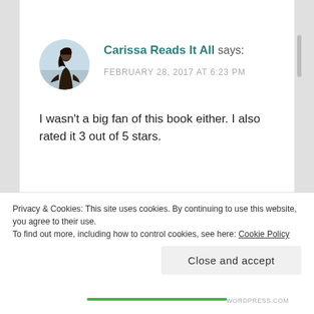[Figure (photo): Circular avatar image of a woman (Carissa Reads It All) standing on a balcony with a scenic background]
Carissa Reads It All says:
FEBRUARY 28, 2017 AT 6:23 PM
I wasn't a big fan of this book either. I also rated it 3 out of 5 stars.
★ Like
REPLY
Privacy & Cookies: This site uses cookies. By continuing to use this website, you agree to their use.
To find out more, including how to control cookies, see here: Cookie Policy
Close and accept